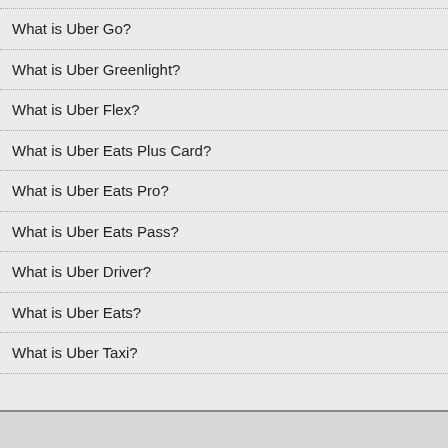What is Uber Go?
What is Uber Greenlight?
What is Uber Flex?
What is Uber Eats Plus Card?
What is Uber Eats Pro?
What is Uber Eats Pass?
What is Uber Driver?
What is Uber Eats?
What is Uber Taxi?